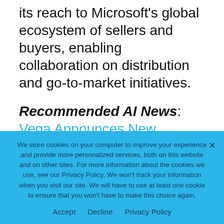its reach to Microsoft's global ecosystem of sellers and buyers, enabling collaboration on distribution and go-to-market initiatives.
Recommended AI News: Vega Announces New Appointments to Board of Directors
“We look forward to helping more enterprises support their employees with meaningful, near human-like interaction experiences. Our new Tryvium Desk integration with Teams enables
We store cookies on your computer to improve your experience and provide more personalized services, both on this website and on other sites. For more information about the cookies we use, see our Privacy Policy. We won’t track your information when you visit our site. We will have to use at least one cookie to ensure that you won’t have to make this choice again.
Accept   Decline   Privacy Policy